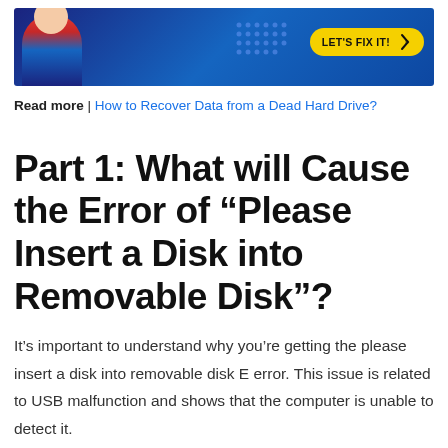[Figure (illustration): Banner image with a person in a blue jacket on a dark blue background with dots pattern and a yellow 'LET'S FIX IT!' badge with a cursor icon]
Read more | How to Recover Data from a Dead Hard Drive?
Part 1: What will Cause the Error of “Please Insert a Disk into Removable Disk”?
It’s important to understand why you’re getting the please insert a disk into removable disk E error. This issue is related to USB malfunction and shows that the computer is unable to detect it.